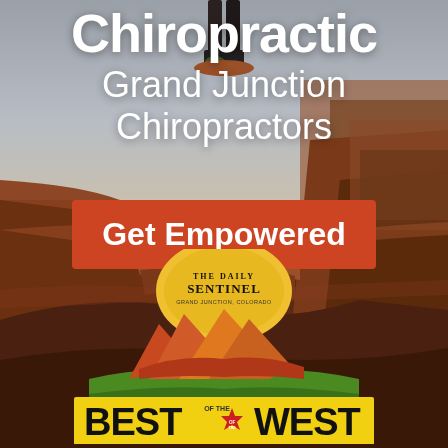[Figure (photo): Background photo of a canyon landscape (red rock canyon in Colorado/Southwest USA) with a person standing on a cliff edge at the top, wearing hiking gear. The sky is overcast/grey at top.]
Chiropractic Grand Junction Chiropractors
Get Empowered
[Figure (logo): The Daily Sentinel Grand Junction Colorado logo (newspaper masthead) above a Best of the West award logo with colorful mountain/landscape graphic and bold stylized text reading BEST OF THE WEST.]